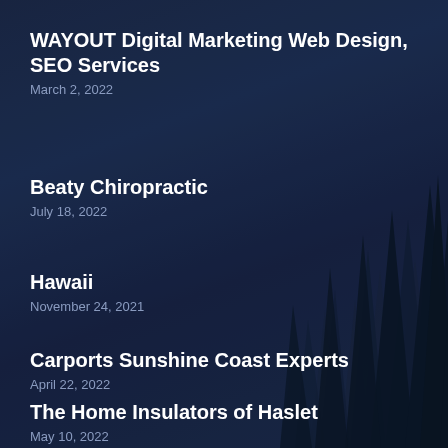[Figure (illustration): Dark navy blue background with silhouetted pine/fir tree forest at the bottom]
WAYOUT Digital Marketing Web Design, SEO Services
March 2, 2022
Beaty Chiropractic
July 18, 2022
Hawaii
November 24, 2021
Carports Sunshine Coast Experts
April 22, 2022
The Home Insulators of Haslet
May 10, 2022